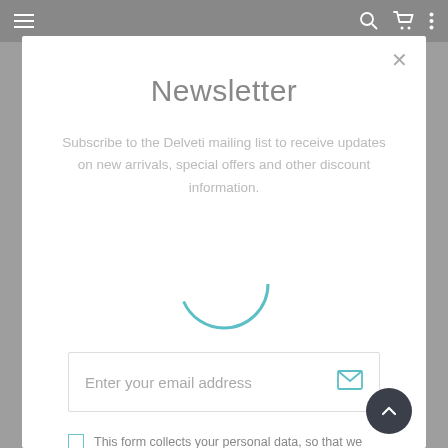[Figure (screenshot): Navigation bar with hamburger menu, search icon, cart icon, and vertical dots menu on a grey background]
Newsletter
Subscribe to the Delveti mailing list to receive updates on new arrivals, special offers and other discount information.
[Figure (other): Email input field with placeholder 'Enter your email address' and envelope icon on the right]
This form collects your personal data, so that we can keep in touch with you and add you to our newsletter list for Store news, events and offers. Check out our Privacy Policy for the full story about how we protect and manage your submitted